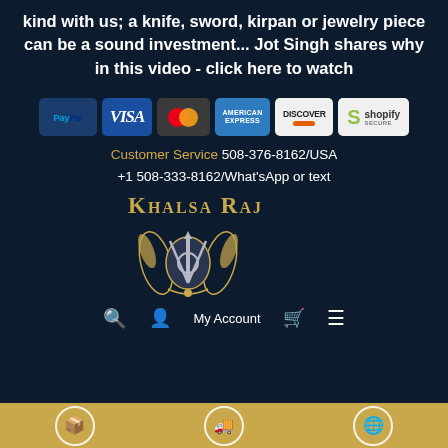kind with us; a knife, sword, kirpan or jewelry piece can be a sound investment... Jot Singh shares why in this video - click here to watch
[Figure (other): Payment method badges: PayPal, Visa, Mastercard, American Express, Discover, Shopify Secure]
Customer Service 508-376-8162/USA +1 508-333-8162/What'sApp or text
Khalsa Raj
[Figure (logo): Khalsa Raj logo with ornate Sikh khanda emblem in gold and silver]
🔍 My Account 🛍 ≡
[Figure (infographic): Gold bar at bottom with three circular icons representing shipping/delivery services]